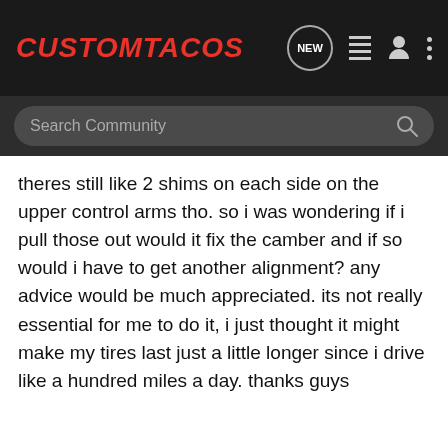CustomTacos
Search Community
theres still like 2 shims on each side on the upper control arms tho. so i was wondering if i pull those out would it fix the camber and if so would i have to get another alignment? any advice would be much appreciated. its not really essential for me to do it, i just thought it might make my tires last just a little longer since i drive like a hundred miles a day. thanks guys
slamdyota · Premium Member
Joined Jan 22, 2002 · 995 Posts
#2 · Oct 14, 2006
yeah take it somewhere else. i have no shims left on mine with